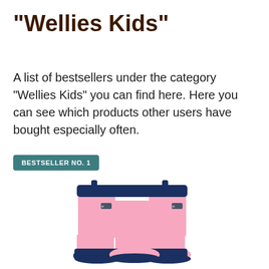“Wellies Kids”
A list of bestsellers under the category “Wellies Kids” you can find here. Here you can see which products other users have bought especially often.
BESTSELLER NO. 1
[Figure (photo): A pair of pink and navy children’s wellington boots (wellies) shown side by side on a white background. The boots are pink with a dark navy blue cuff at the top and dark navy blue soles.]